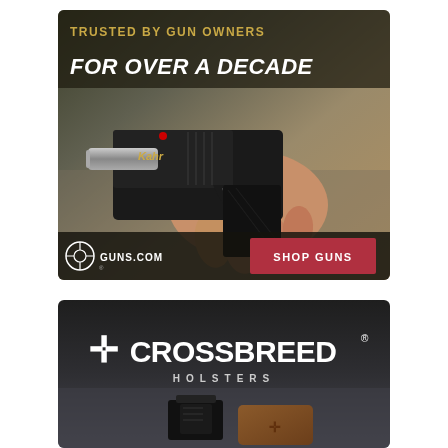[Figure (photo): Guns.com advertisement showing a person's hand holding a compact black pistol with silver barrel and red front sight. Text reads 'TRUSTED BY GUN OWNERS FOR OVER A DECADE' with Guns.com logo and a red 'SHOP GUNS' button.]
[Figure (photo): CrossBreed Holsters advertisement with white logo showing a cross symbol followed by 'CROSSBREED.' brand name and 'HOLSTERS' subtitle, over a dark background showing holster products.]